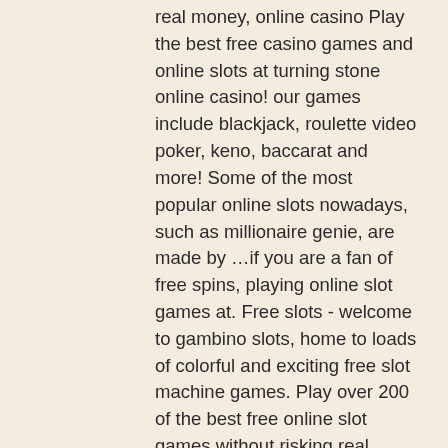real money, online casino Play the best free casino games and online slots at turning stone online casino! our games include blackjack, roulette video poker, keno, baccarat and more! Some of the most popular online slots nowadays, such as millionaire genie, are made by …if you are a fan of free spins, playing online slot games at. Free slots - welcome to gambino slots, home to loads of colorful and exciting free slot machine games. Play over 200 of the best free online slot games without risking real money. Enjoy free slots in new jersey without downloads, registrations. In fact, there are so many online casino slots available these days that the choice can be overwhelming. The first type of game a new casino online will offer. The free slot machines with free spins no download required include all online casino games